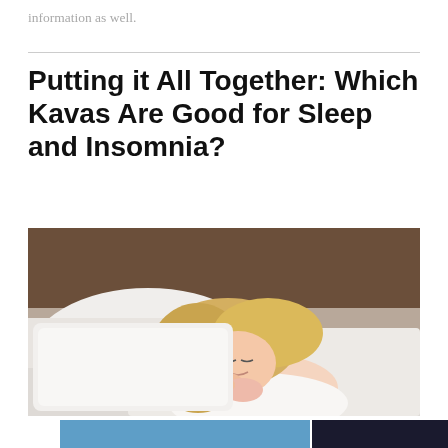information as well.
Putting it All Together: Which Kavas Are Good for Sleep and Insomnia?
[Figure (photo): Woman with blonde hair sleeping peacefully on white pillow and bed, eyes closed, smiling slightly, wearing white top.]
[Figure (photo): Advertisement banner showing an airplane being loaded with cargo at an airport, with text 'WITHOUT REGARD TO POLITICS, RELIGION, OR ABILITY TO PAY'.]